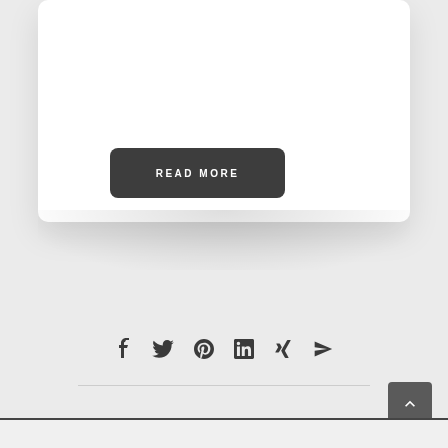[Figure (screenshot): White card with rounded corners and drop shadow at top of page]
READ MORE
[Figure (infographic): Social sharing icons row: Facebook, Twitter, Pinterest, LinkedIn, Xing, Email/Telegram]
[Figure (other): Back to top button (dark square with upward chevron) in bottom right corner]